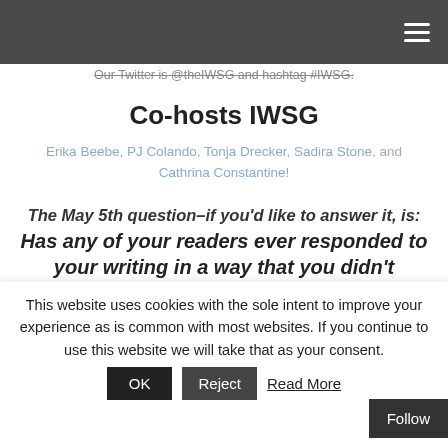Our Twitter is @theIWSG and hashtag #IWSG.
Co-hosts IWSG
Erika Beebe, PJ Colando, Tonja Drecker, Sadira Stone, and Cathrina Constantine!
The May 5th question–if you'd like to answer it, is: Has any of your readers ever responded to your writing in a way that you didn't expect? If so, did it surprise you?
This website uses cookies with the sole intent to improve your experience as is common with most websites. If you continue to use this website we will take that as your consent.